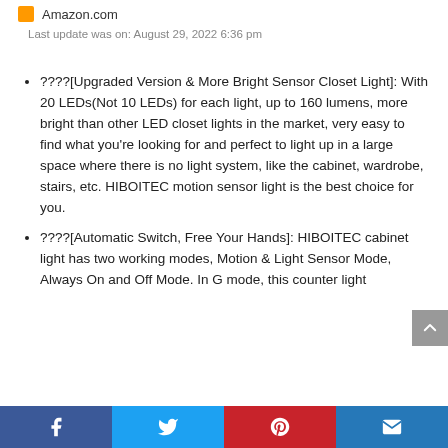Amazon.com
Last update was on: August 29, 2022 6:36 pm
????[Upgraded Version & More Bright Sensor Closet Light]: With 20 LEDs(Not 10 LEDs) for each light, up to 160 lumens, more bright than other LED closet lights in the market, very easy to find what you're looking for and perfect to light up in a large space where there is no light system, like the cabinet, wardrobe, stairs, etc. HIBOITEC motion sensor light is the best choice for you.
????[Automatic Switch, Free Your Hands]: HIBOITEC cabinet light has two working modes, Motion & Light Sensor Mode, Always On and Off Mode. In G mode, this counter light